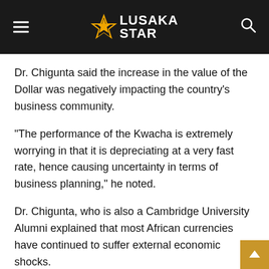[Figure (logo): Lusaka Star news website logo with hamburger menu and search icon on dark header bar]
Dr. Chigunta said the increase in the value of the Dollar was negatively impacting the country's business community.
“The performance of the Kwacha is extremely worrying in that it is depreciating at a very fast rate, hence causing uncertainty in terms of business planning,” he noted.
Dr. Chigunta, who is also a Cambridge University Alumni explained that most African currencies have continued to suffer external economic shocks.
He however noted that the situation was worse in Zambia than any other country due to the fact that the country was not economically independent, adding that the continued